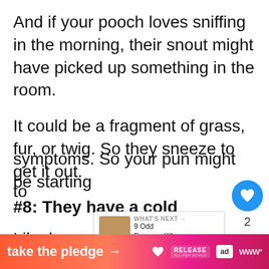And if your pooch loves sniffing in the morning, their snout might have picked up something in the room.
It could be a fragment of grass, fur, or twig. So they sneeze to get it out.
#8: They have a cold
Like humans, dogs can have a cold too
PetMD says that they experience symptoms. So your pun might be starting to
[Figure (screenshot): Heart/like button (blue circle with heart icon), count of 2, and share button overlay on right side of page]
[Figure (screenshot): What's Next widget showing '9 Odd Reasons Wh...' with thumbnail image]
[Figure (screenshot): Bottom banner ad: 'take the pledge' with arrow, RELEASE logo, ed logo, and WW logo on gradient orange-pink background]